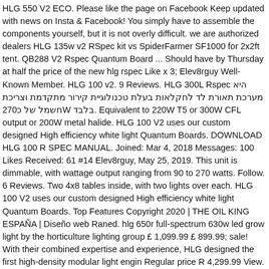HLG 550 V2 ECO. Please like the page on Facebook Keep updated with news on Insta & Facebook! You simply have to assemble the components yourself, but it is not overly difficult. we are authorized dealers HLG 135w v2 RSpec kit vs SpiderFarmer SF1000 for 2x2ft tent. QB288 V2 Rspec Quantum Board ... Should have by Thursday at half the price of the new hlg rspec Like x 3; Elev8rguy Well-Known Member. HLG 100 v2. 9 Reviews. HLG 300L Rspec היא מערכת תאורת לד לחקלאות בעלת טכנולוגיית קירור מתקדמת וצריכת חשמל של כ270W בלבד. Equivalent to 220W T5 or 300W CFL output or 200W metal halide. HLG 100 V2 uses our custom designed High efficiency white light Quantum Boards. DOWNLOAD HLG 100 R SPEC MANUAL. Joined: Mar 4, 2018 Messages: 100 Likes Received: 61 #14 Elev8rguy, May 25, 2019. This unit is dimmable, with wattage output ranging from 90 to 270 watts. Follow. 6 Reviews. Two 4x8 tables inside, with two lights over each. HLG 100 V2 uses our custom designed High efficiency white light Quantum Boards. Top Features Copyright 2020 | THE OIL KING ESPAÑA | Diseño web Raned. hlg 650r full-spectrum 630w led grow light by the horticulture lighting group £ 1,099.99 £ 899.99; sale! With their combined expertise and experience, HLG designed the first high-density modular light engin Regular price R 4,299.99 View. Horticulture Lighting Group (HLG) HLG 300 V2 Rspec. 35. Please feel free to drop us a mail. HLG Scorpion R Spec Manual ***UPDATE – THE HLG 300 has been discontinued. 260W QB V2 Rspec. With a total of 192 pcs Samsung LM301B LED's, this fixture produces15,900+ Lumens with just 95 Watts of power. The